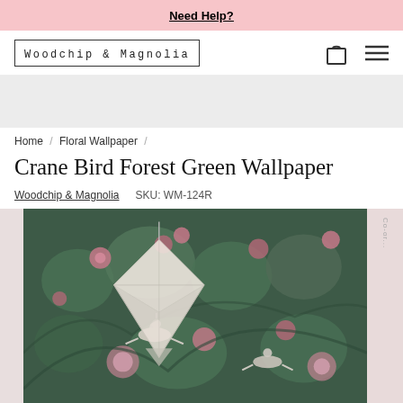Need Help?
[Figure (logo): Woodchip & Magnolia brand logo in a rectangular border, with shopping bag and hamburger menu icons on the right]
[Figure (photo): Crane Bird Forest Green Wallpaper product photo showing green floral wallpaper with cranes, birds, and pink flowers, with an origami paper decoration in the foreground]
Home / Floral Wallpaper /
Crane Bird Forest Green Wallpaper
Woodchip & Magnolia    SKU: WM-124R